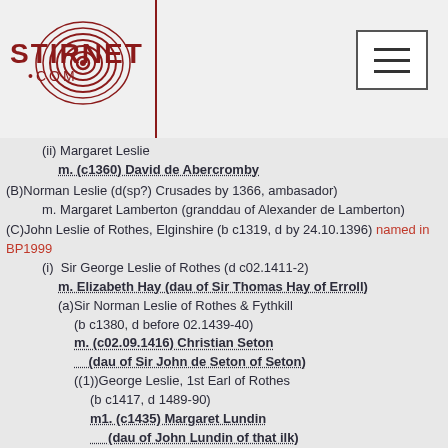Stirnet.com logo and navigation header
(ii) Margaret Leslie
    m. (c1360) David de Abercromby
(B) Norman Leslie (d(sp?) Crusades by 1366, ambasador)
    m. Margaret Lamberton (granddau of Alexander de Lamberton)
(C) John Leslie of Rothes, Elginshire (b c1319, d by 24.10.1396) named in BP1999
    (i) Sir George Leslie of Rothes (d c02.1411-2)
        m. Elizabeth Hay (dau of Sir Thomas Hay of Erroll)
        (a) Sir Norman Leslie of Rothes & Fythkill (b c1380, d before 02.1439-40)
            m. (c02.09.1416) Christian Seton (dau of Sir John de Seton of Seton)
            ((1)) George Leslie, 1st Earl of Rothes (b c1417, d 1489-90)
                 m1. (c1435) Margaret Lundin (dau of John Lundin of that ilk)